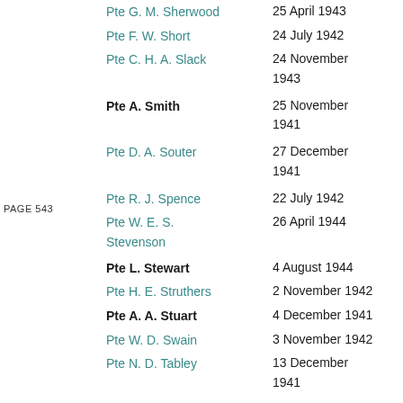Pte G. M. Sherwood — 25 April 1943
Pte F. W. Short — 24 July 1942
Pte C. H. A. Slack — 24 November 1943
PAGE 543
Pte A. Smith — 25 November 1941
Pte D. A. Souter — 27 December 1941
Pte R. J. Spence — 22 July 1942
Pte W. E. S. Stevenson — 26 April 1944
Pte L. Stewart — 4 August 1944
Pte H. E. Struthers — 2 November 1942
Pte A. A. Stuart — 4 December 1941
Pte W. D. Swain — 3 November 1942
Pte N. D. Tabley — 13 December 1941